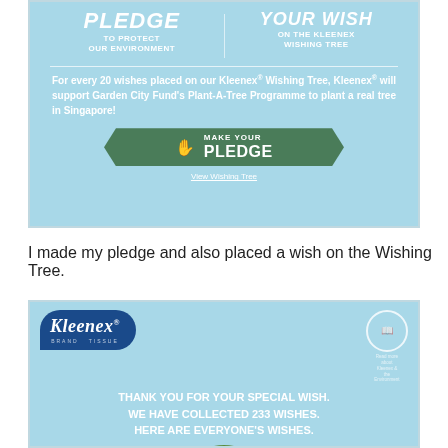[Figure (infographic): Kleenex light blue promotional banner. Top section shows 'PLEDGE TO PROTECT OUR ENVIRONMENT' and 'YOUR WISH ON THE KLEENEX WISHING TREE'. Body text reads: 'For every 20 wishes placed on our Kleenex® Wishing Tree, Kleenex® will support Garden City Fund's Plant-A-Tree Programme to plant a real tree in Singapore!' A dark green arrow/chevron button reads 'MAKE YOUR PLEDGE' with a hand icon, and below it 'View Wishing Tree'.]
I made my pledge and also placed a wish on the Wishing Tree.
[Figure (screenshot): Kleenex branded light blue page with navy Kleenex logo (italic script) in top left. Top right has a circle icon with book/read more symbol. Main text in white bold uppercase: 'THANK YOU FOR YOUR SPECIAL WISH. WE HAVE COLLECTED 233 WISHES. HERE ARE EVERYONE'S WISHES.' Bottom shows partial green hill/tree graphic.]